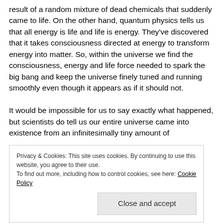result of a random mixture of dead chemicals that suddenly came to life. On the other hand, quantum physics tells us that all energy is life and life is energy. They've discovered that it takes consciousness directed at energy to transform energy into matter. So, within the universe we find the consciousness, energy and life force needed to spark the big bang and keep the universe finely tuned and running smoothly even though it appears as if it should not.

It would be impossible for us to say exactly what happened, but scientists do tell us our entire universe came into existence from an infinitesimally tiny amount of
Privacy & Cookies: This site uses cookies. By continuing to use this website, you agree to their use.
To find out more, including how to control cookies, see here: Cookie Policy
Way in far less than a second,